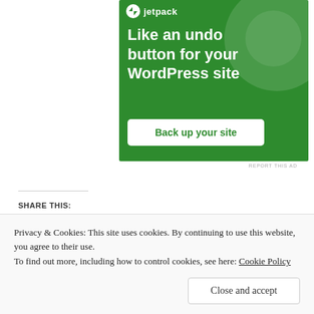[Figure (illustration): Jetpack advertisement banner with green background. Shows Jetpack logo at top, text 'Like an undo button for your WordPress site', and a white button 'Back up your site'.]
REPORT THIS AD
SHARE THIS:
Twitter
Facebook
Privacy & Cookies: This site uses cookies. By continuing to use this website, you agree to their use.
To find out more, including how to control cookies, see here: Cookie Policy
Close and accept